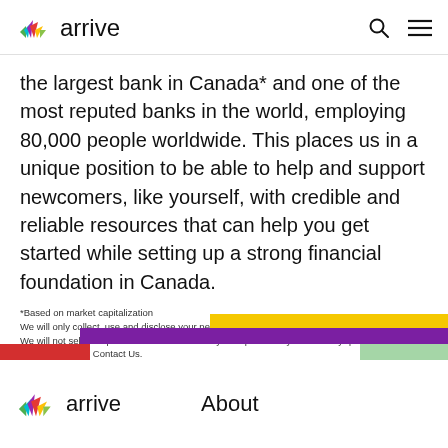arrive
the largest bank in Canada* and one of the most reputed banks in the world, employing 80,000 people worldwide. This places us in a unique position to be able to help and support newcomers, like yourself, with credible and reliable resources that can help you get started while setting up a strong financial foundation in Canada.
*Based on market capitalization
We will only collect, use and disclose your personal information for the purpose you provided it. We will not sell your personal information to any third parties. If you have any questions, see our Privacy Policy or Contact Us.
Note: California residents see our California Privacy Notice.
[Figure (illustration): Decorative color bar strip with yellow, purple, red, and green horizontal bars across the bottom of the page]
arrive   About